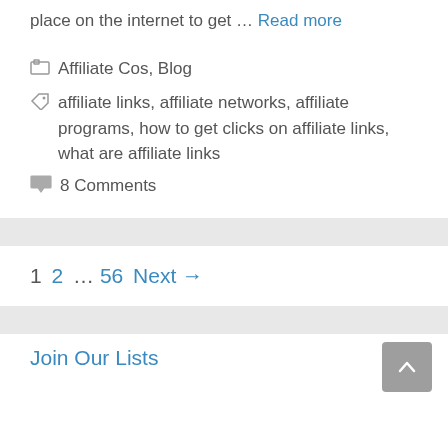place on the internet to get … Read more
Affiliate Cos, Blog
affiliate links, affiliate networks, affiliate programs, how to get clicks on affiliate links, what are affiliate links
8 Comments
1 2 … 56 Next →
Join Our Lists